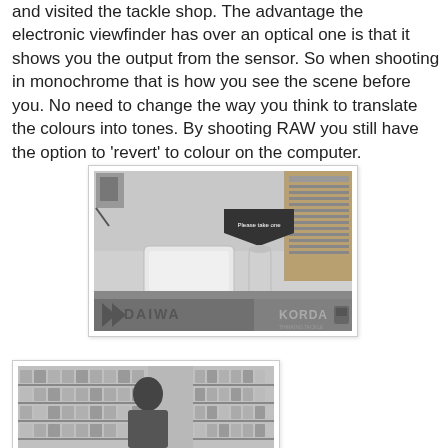and visited the tackle shop. The advantage the electronic viewfinder has over an optical one is that it shows you the output from the sensor. So when shooting in monochrome that is how you see the scene before you. No need to change the way you think to translate the colours into tones. By shooting RAW you still have the option to 'revert' to colour on the computer.
[Figure (photo): Black and white photograph of a tackle shop counter showing a plastic container, a cylindrical item, and a 'Please take one' sign, with Daiwa and Korda branded equipment visible in the foreground.]
[Figure (photo): Black and white photograph of a tackle shop interior showing shelves stocked with fishing tackle products and a person visible from behind browsing the shelves.]